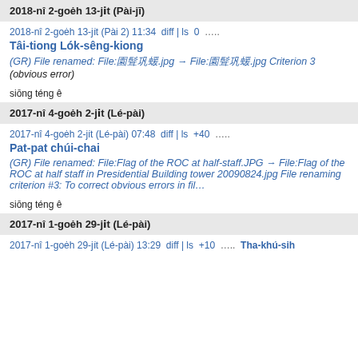2018-nî 2-goe̍h 13-jı̍t (Pài-jī)
2018-nî 2-goe̍h 13-jı̍t (Pài 2) 11:34  ‎diff | ls‎  0  ....
Tâi-tiong Lo̍k-sêng-kiong
(GR) File renamed: File:圓頂巨蛋.jpg → File:圓頂巨蛋.jpg Criterion 3 (obvious error)
siōng téng ê
2017-nî 4-goe̍h 2-jı̍t (Lé-pài)
2017-nî 4-goe̍h 2-jı̍t (Lé-pài) 07:48  ‎diff | ls‎  +40  ....
Pat-pat chúi-chai
(GR) File renamed: File:Flag of the ROC at half-staff.JPG → File:Flag of the ROC at half staff in Presidential Building tower 20090824.jpg File renaming criterion #3: To correct obvious errors in fil…
siōng téng ê
2017-nî 1-goe̍h 29-jı̍t (Lé-pài)
2017-nî 1-goe̍h 29-jı̍t (Lé-pài) 13:29  ‎diff | ls‎  +10  ....  Tha-khú-sih